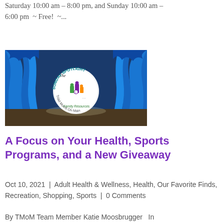Saturday 10:00 am – 8:00 pm, and Sunday 10:00 am – 6:00 pm  ~ Free!  ~...
[Figure (illustration): A theatrical stage with blue curtains. In the center is a white circular spotlight logo reading 'The Sunday Spotlight – Triad Moms On Main – Family Resources' with colorful illustrated figures of people.]
A Focus on Your Health, Sports Programs, and a New Giveaway
Oct 10, 2021  |  Adult Health & Wellness, Health, Our Favorite Finds, Recreation, Shopping, Sports  |  0 Comments
By TMoM Team Member Katie Moosbrugger  In